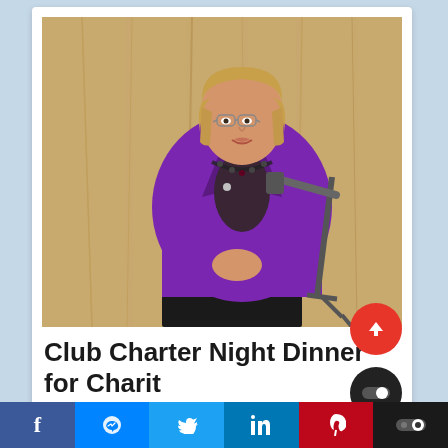[Figure (photo): A woman with short blonde hair wearing a bright purple blazer and dark necklace stands in front of a wooden panel wall. She has her hands clasped together and stands near a microphone stand on her right side.]
Club Charter Night Dinner for Charit...
Facebook | Messenger | Twitter | LinkedIn | Pinterest | Toggle